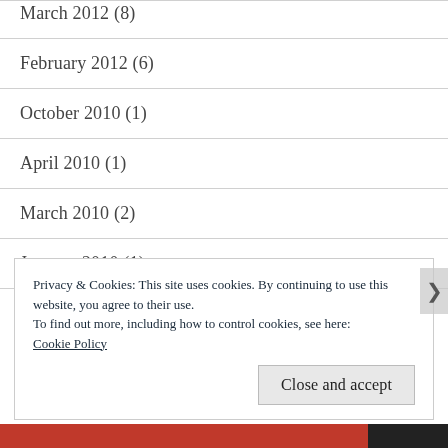March 2012 (8)
February 2012 (6)
October 2010 (1)
April 2010 (1)
March 2010 (2)
January 2010 (1)
December 2009 (14)
Privacy & Cookies: This site uses cookies. By continuing to use this website, you agree to their use.
To find out more, including how to control cookies, see here: Cookie Policy